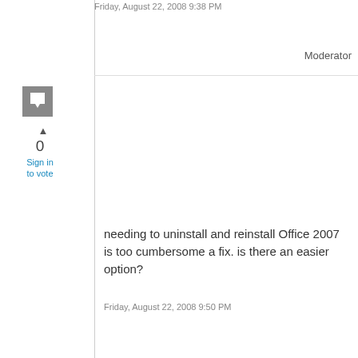Friday, August 22, 2008 9:38 PM
Moderator
[Figure (illustration): Generic user avatar icon — grey square with white speech bubble]
0
Sign in to vote
needing to uninstall and reinstall Office 2007 is too cumbersome a fix. is there an easier option?
Friday, August 22, 2008 9:50 PM